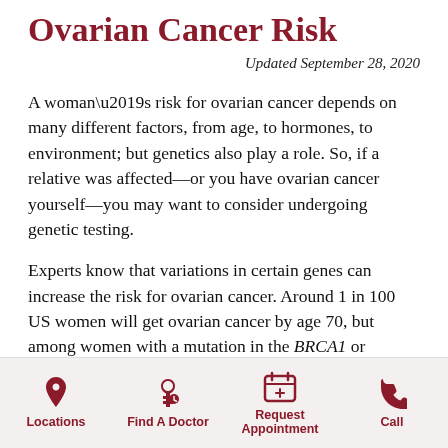Ovarian Cancer Risk
Updated September 28, 2020
A woman’s risk for ovarian cancer depends on many different factors, from age, to hormones, to environment; but genetics also play a role. So, if a relative was affected—or you have ovarian cancer yourself—you may want to consider undergoing genetic testing.
Experts know that variations in certain genes can increase the risk for ovarian cancer. Around 1 in 100 US women will get ovarian cancer by age 70, but among women with a mutation in the BRCA1 or BRCA2 genes,
Locations | Find A Doctor | Request Appointment | Call